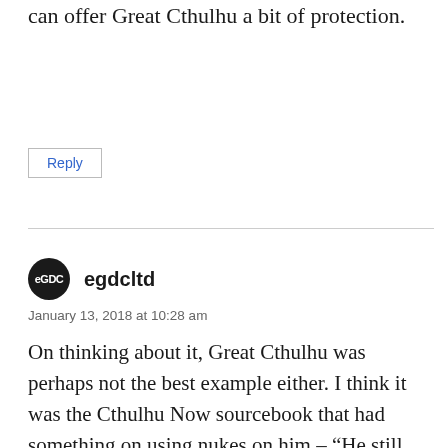can offer Great Cthulhu a bit of protection.
Reply
egdcltd
January 13, 2018 at 10:28 am
On thinking about it, Great Cthulhu was perhaps not the best example either. I think it was the Cthulhu Now sourcebook that had something on using nukes on him – “He still reforms 15 minutes later, only now he’s radioactive.” Criticals are a lot less of a